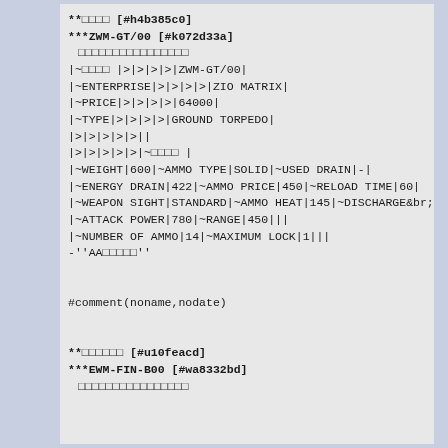**□□□□ [#h4b385c0]
***ZWM-GT/00 [#k072d33a]
□□□□□□□□□□□□□□□□
|~□□□□ |>|>|>|>|ZWM-GT/00|
|~ENTERPRISE|>|>|>|>|ZIO MATRIX|
|~PRICE|>|>|>|>|64000|
|~TYPE|>|>|>|>|GROUND TORPEDO|
|>|>|>|>|>||
|>|>|>|>|>|~□□□□ |
|~WEIGHT|600|~AMMO TYPE|SOLID|~USED DRAIN|-|
|~ENERGY DRAIN|422|~AMMO PRICE|450|~RELOAD TIME|60|
|~WEAPON SIGHT|STANDARD|~AMMO HEAT|145|~DISCHARGE&br;REAC
|~ATTACK POWER|780|~RANGE|450|||
|~NUMBER OF AMMO|14|~MAXIMUM LOCK|1|||
-''AA□□□□□''
#comment(noname,nodate)
**□□□□□□ [#u10feacd]
***EWM-FIN-B00 [#wa8332bd]
□□□□□□□□□□□□□□□□